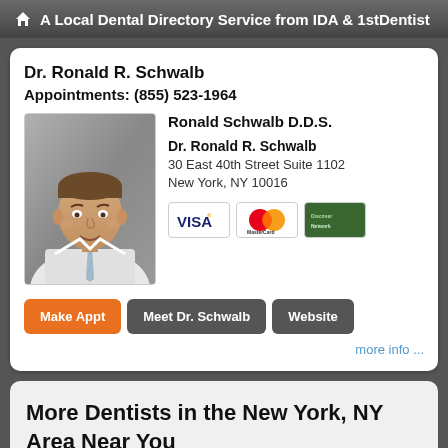A Local Dental Directory Service from IDA & 1stDentist
Dr. Ronald R. Schwalb
Appointments: (855) 523-1964
[Figure (photo): Professional headshot of Dr. Ronald R. Schwalb in white coat and tie]
Ronald Schwalb D.D.S.
Dr. Ronald R. Schwalb
30 East 40th Street Suite 1102
New York, NY 10016
[Figure (infographic): Payment icons: VISA, MasterCard, and a green card]
Make Appt  Meet Dr. Schwalb  Website
more info ...
More Dentists in the New York, NY Area Near You